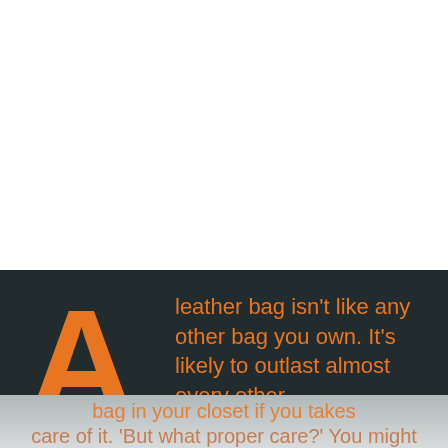[Figure (photo): White blank upper portion of the page, likely where an image would appear]
A leather bag isn't like any other bag you own. It's likely to outlast almost every other bag in your closet if you takes care of it. 'But what proper care?' You might